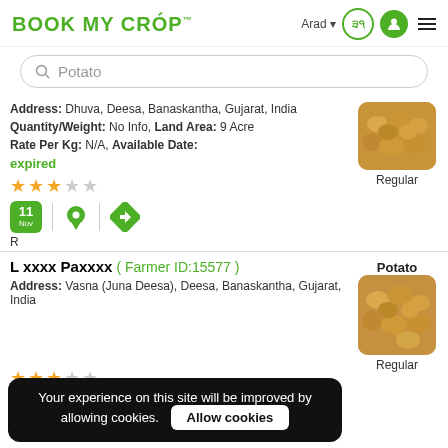BOOK MY CROP™ — Arad (user navigation)
Search: Potato
Address: Dhuva, Deesa, Banaskantha, Gujarat, India
Quantity/Weight: No Info, Land Area: 9 Acre
Rate Per Kg: N/A, Available Date: expired
[Figure (photo): Photo of potatoes with label Regular]
Rating: 3 out of 5 stars. Date: 11 Nov. Icons: location pin, direction arrow. Label: R
L xxxx Paxxxx (Farmer ID:15577)
Address: Vasna (Juna Deesa), Deesa, Banaskantha, Gujarat, India
[Figure (photo): Photo of potatoes with label Regular, Potato]
Cookie banner: Your experience on this site will be improved by allowing cookies. Allow cookies
Rating: 3 out of 5 stars